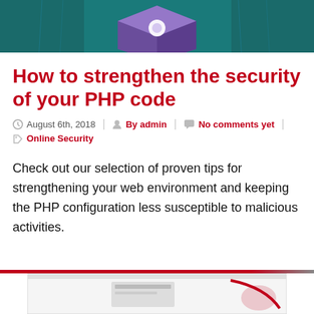[Figure (illustration): Partial view of a digital security illustration with purple/teal tones at the top of the page]
How to strengthen the security of your PHP code
August 6th, 2018  |  By admin  |  No comments yet  |  Online Security
Check out our selection of proven tips for strengthening your web environment and keeping the PHP configuration less susceptible to malicious activities.
[Figure (illustration): Partial view of a product/security image at the bottom of the page]